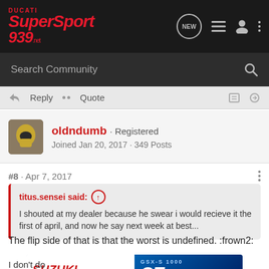Ducati SuperSport 939 .net
Search Community
Reply  Quote
oldndumb · Registered
Joined Jan 20, 2017 · 349 Posts
#8 · Apr 7, 2017
titus.sensei said: ↑
I shouted at my dealer because he swear i would recieve it the first of april, and now he say next week at best...
The flip side of that is that the worst is undefined. :frown2:
[Figure (other): Suzuki GSX-S1000 GT advertisement banner]
I don't do